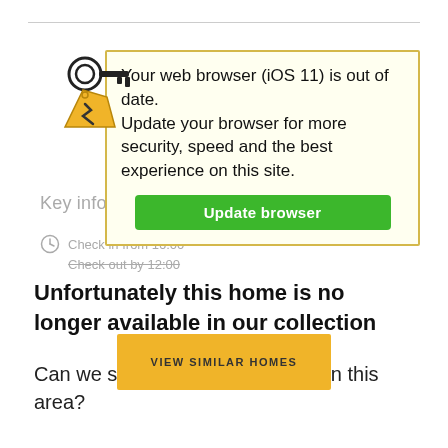[Figure (illustration): Key icon illustration with a price tag]
Your web browser (iOS 11) is out of date. Update your browser for more security, speed and the best experience on this site.
Update browser
Key info
Check in from 16:00
Check out by 12:00
Unfortunately this home is no longer available in our collection
Can we show you similar homes in this area?
VIEW SIMILAR HOMES